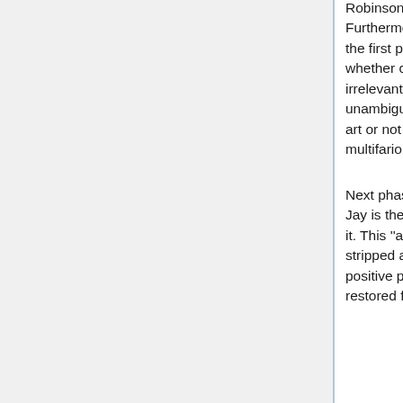Robinson's statement that it is art because it can lie. Furthermore there were artists who rejected the question in the first place, such as Duchamp with the statement that whether camera's "results come under the category of Art is irrelevant". Sontag's text stresses that there is no unambiguous answer to the question whether photography is art or not or at least it is not to be found within the multifarious voices of its creators.
Next phase of photography's integration in arts according to Jay is the moment when the notion of aura was attached to it. This ''auratic nimbus'' of a photograph has been seemingly stripped away by the infinite reproducibility by negative-positive process. But the cult status of a unique artwork was restored firstly by attaching strong value to 'original' prints